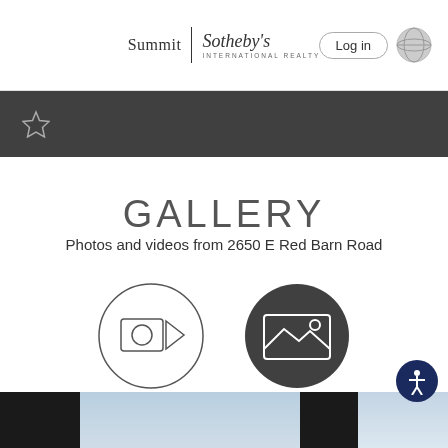Summit | Sotheby's INTERNATIONAL REALTY   Log in
[Figure (screenshot): Dark navigation bar with a star/favorite icon on the left]
GALLERY
Photos and videos from 2650 E Red Barn Road
[Figure (illustration): Two circular icons: left is a video camera icon (outline circle), right is a photo/image icon (dark filled circle with mountain/landscape symbol)]
[Figure (photo): Partial bottom strip showing property photos with sky backgrounds, partially cut off]